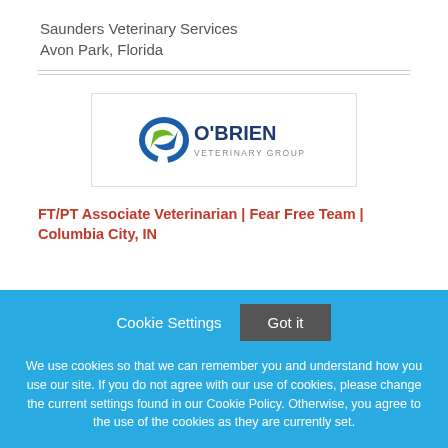Saunders Veterinary Services
Avon Park, Florida
[Figure (logo): O'Brien Veterinary Group logo — circular swirl icon in blue and green, with 'O'BRIEN' in dark blue bold text and 'VETERINARY GROUP' in smaller gray text]
FT/PT Associate Veterinarian | Fear Free Team | Columbia City, IN
Cookie Settings  Got it
We use cookies so that we can remember you and understand how you use our site. If you do not agree with our use of cookies, please change the current settings found in our Cookie Policy. Otherwise, you agree to the use of the cookies as they are currently set.